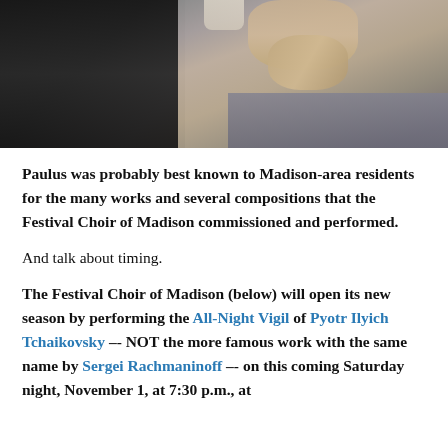[Figure (photo): Two people photographed together, one on left wearing dark/black clothing, one on right wearing gray jacket with hand raised to chin in thoughtful pose.]
Paulus was probably best known to Madison-area residents for the many works and several compositions that the Festival Choir of Madison commissioned and performed.
And talk about timing.
The Festival Choir of Madison (below) will open its new season by performing the All-Night Vigil of Pyotr Ilyich Tchaikovsky –- NOT the more famous work with the same name by Sergei Rachmaninoff –- on this coming Saturday night, November 1, at 7:30 p.m., at